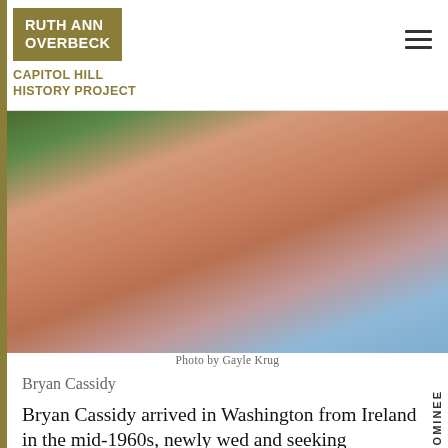RUTH ANN OVERBECK CAPITOL HILL HISTORY PROJECT
[Figure (photo): Close-up photo of Bryan Cassidy, a man wearing a blue polo shirt, photographed from shoulders up, face cropped at top of frame. Green foliage visible in upper left background.]
Photo by Gayle Krug
Bryan Cassidy
Bryan Cassidy arrived in Washington from Ireland in the mid-1960s, newly wed and seeking employment as an architect.
Bryan recounts to interviewer Ida Prosky